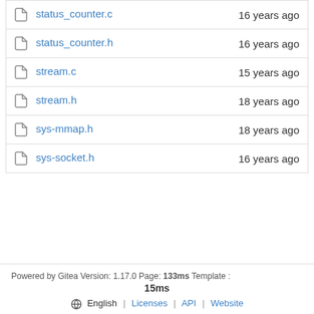| File | Age |
| --- | --- |
| status_counter.c | 16 years ago |
| status_counter.h | 16 years ago |
| stream.c | 15 years ago |
| stream.h | 18 years ago |
| sys-mmap.h | 18 years ago |
| sys-socket.h | 16 years ago |
Powered by Gitea Version: 1.17.0 Page: 133ms Template : 15ms English | Licenses | API | Website